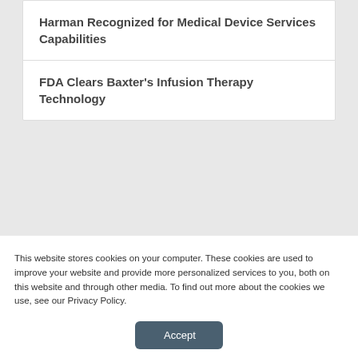Harman Recognized for Medical Device Services Capabilities
FDA Clears Baxter's Infusion Therapy Technology
This website stores cookies on your computer. These cookies are used to improve your website and provide more personalized services to you, both on this website and through other media. To find out more about the cookies we use, see our Privacy Policy.
Accept